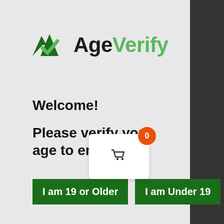[Figure (logo): AgeVerify logo with mountain/checkmark icon in green and dark green, followed by text 'Age' in black bold and 'Verify' in light green bold]
Welcome!
Please verify your age to enter.
I am 19 or Older | I am Under 19
[Figure (infographic): Shopping cart widget with orange badge showing 0, white card with basket icon]